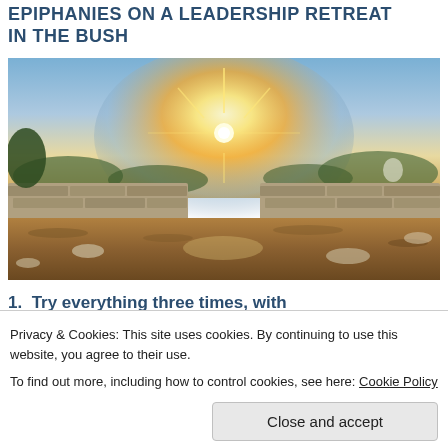EPIPHANIES ON A LEADERSHIP RETREAT IN THE BUSH
[Figure (photo): Outdoor photo of a bush landscape at sunset/sunrise. A bright sun is visible low on the horizon behind what appears to be a stone wall or rocky terrain. Dry scrubland, stones, and sparse trees are visible in the scene.]
1. Try everything three times, with
Privacy & Cookies: This site uses cookies. By continuing to use this website, you agree to their use.
To find out more, including how to control cookies, see here: Cookie Policy
They say one should try everything once (Google what